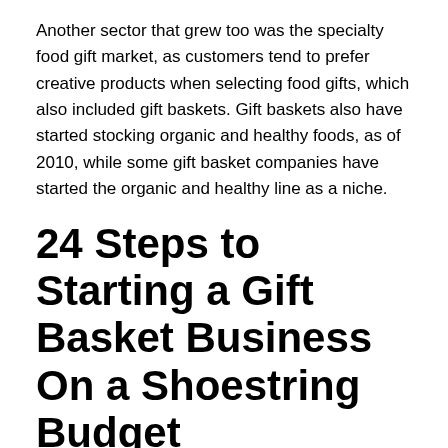Another sector that grew too was the specialty food gift market, as customers tend to prefer creative products when selecting food gifts, which also included gift baskets. Gift baskets also have started stocking organic and healthy foods, as of 2010, while some gift basket companies have started the organic and healthy line as a niche.
24 Steps to Starting a Gift Basket Business On a Shoestring Budget
Table of Content [show]
1. Understand the Industry
According to industry surveys, more than half of all the gift basket businesses have retail outlets. However, due to the flexibility of the gift basket business as regarding the choice in location, more people prefer to start the business from home